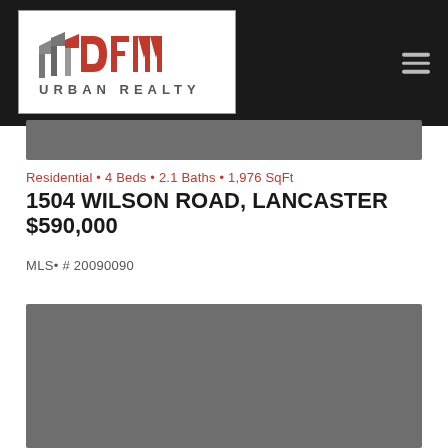[Figure (logo): DFW Urban Realty logo with red and gray geometric flag icons and red DFW text above URBAN REALTY in gray]
[Figure (photo): Top photo strip of property listing, partially visible, gray placeholder]
Residential • 4 Beds • 2.1 Baths • 1,976 SqFt
1504 WILSON ROAD, LANCASTER
$590,000
MLS• # 20090090
[Figure (photo): Bottom photo strip of property listing, gray placeholder]